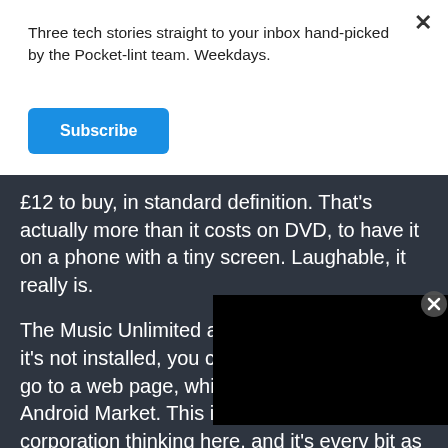Three tech stories straight to your inbox hand-picked by the Pocket-lint team. Weekdays.
Subscribe
£12 to buy, in standard definition. That's actually more than it costs on DVD, to have it on a phone with a tiny screen. Laughable, it really is.
The Music Unlimited app is a... it's not installed, you click its... go to a web page, which the... Android Market. This is traditional big corporation thinking here, and it's every bit as annoying as always. Once you download and install it, the app is much like, say, Spotify. It lets you stream music over
[Figure (screenshot): Black video player overlay in the lower right of the dark content area]